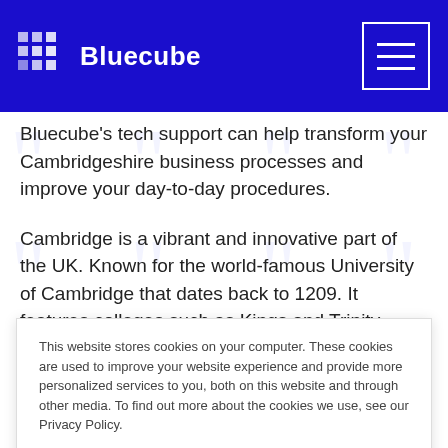[Figure (logo): Bluecube logo with blue background header bar, grid of white dots icon and 'Bluecube' text in white, plus hamburger menu icon (3 white lines in white rectangle) on right]
Bluecube's tech support can help transform your Cambridgeshire business processes and improve your day-to-day procedures.
Cambridge is a vibrant and innovative part of the UK. Known for the world-famous University of Cambridge that dates back to 1209. It features colleges such as Kings and Trinity, which was founded by King Henry VIII.
This website stores cookies on your computer. These cookies are used to improve your website experience and provide more personalized services to you, both on this website and through other media. To find out more about the cookies we use, see our Privacy Policy.